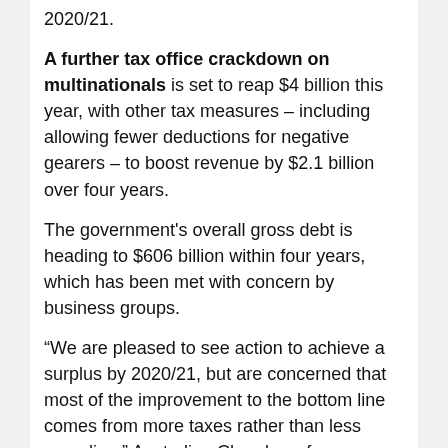2020/21.
A further tax office crackdown on multinationals is set to reap $4 billion this year, with other tax measures – including allowing fewer deductions for negative gearers – to boost revenue by $2.1 billion over four years.
The government's overall gross debt is heading to $606 billion within four years, which has been met with concern by business groups.
“We are pleased to see action to achieve a surplus by 2020/21, but are concerned that most of the improvement to the bottom line comes from more taxes rather than less spending,” Australian Chamber of Commerce and Industry chief executive James Pearson said.
Unions said the budget waged war on the vulnerable through cuts to welfare and higher university fees.